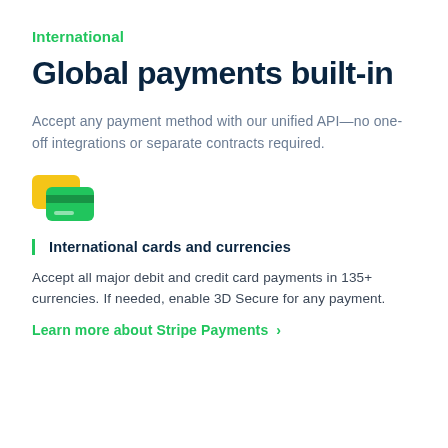International
Global payments built-in
Accept any payment method with our unified API—no one-off integrations or separate contracts required.
[Figure (illustration): Two overlapping payment cards icon — a yellow card in the back and a green card in front with a dark stripe and white bar]
International cards and currencies
Accept all major debit and credit card payments in 135+ currencies. If needed, enable 3D Secure for any payment.
Learn more about Stripe Payments >